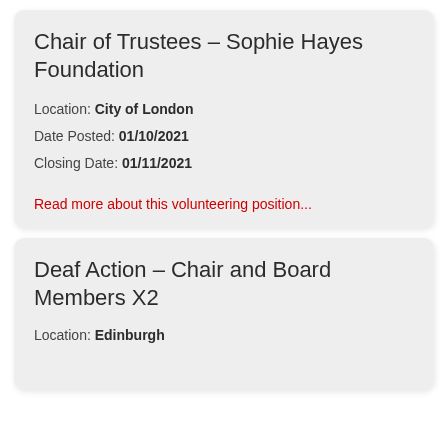Chair of Trustees – Sophie Hayes Foundation
Location: City of London
Date Posted: 01/10/2021
Closing Date: 01/11/2021
Read more about this volunteering position...
Deaf Action – Chair and Board Members X2
Location: Edinburgh